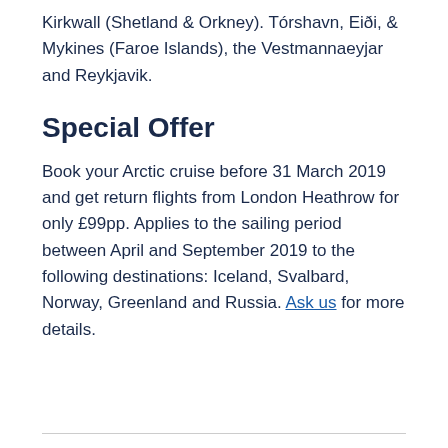Kirkwall (Shetland & Orkney). Tórshavn, Eiði, & Mykines (Faroe Islands), the Vestmannaeyjar and Reykjavik.
Special Offer
Book your Arctic cruise before 31 March 2019 and get return flights from London Heathrow for only £99pp. Applies to the sailing period between April and September 2019 to the following destinations: Iceland, Svalbard, Norway, Greenland and Russia. Ask us for more details.